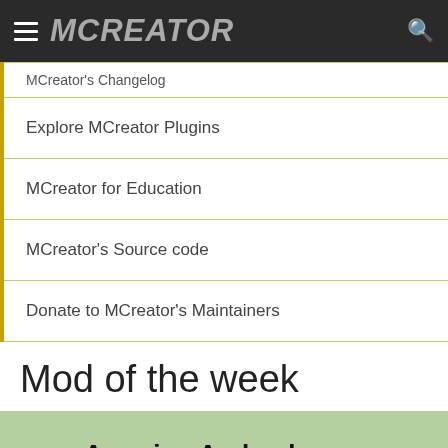MCreator (navigation bar with hamburger menu, logo, and search icon)
MCreator's Changelog
Explore MCreator Plugins
MCreator for Education
MCreator's Source code
Donate to MCreator's Maintainers
Mod of the week
Amazing Archeology ~ (Mindthemood's Bits & Bobs)